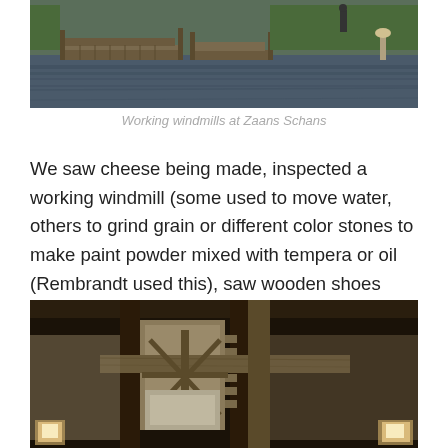[Figure (photo): Wooden docks/platforms on a canal with people walking, green foliage in background — working windmills area at Zaans Schans]
Working windmills at Zaans Schans
We saw cheese being made, inspected a working windmill (some used to move water, others to grind grain or different color stones to make paint powder mixed with tempera or oil (Rembrandt used this), saw wooden shoes being made.
[Figure (photo): Interior of a working windmill showing large wooden gear mechanisms and millstones, with lanterns visible]